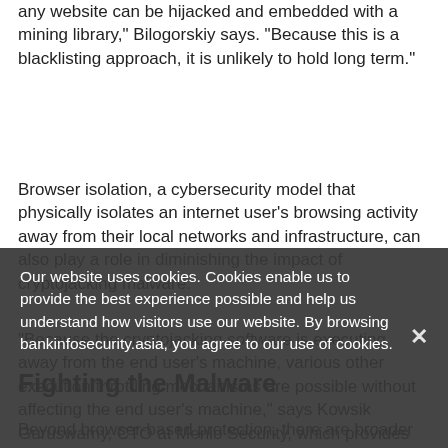any website can be hijacked and embedded with a mining library," Bilogorskiy says. "Because this is a blacklisting approach, it is unlikely to hold long term."
Browser isolation, a cybersecurity model that physically isolates an internet user's browsing activity away from their local networks and infrastructure, can also play a role in diminishing the impact of cryptojacking malware.
"Because the cryptojacking software is executing away from the end user's machine, various other execution throttling mechanisms are possible without affecting the end user's machine," says Kowsik Guruswamy, CTO at Menlo Security, which provides browser isolation technology.
Fighting the Malware
Beyond browser-based protection, there are broader
Our website uses cookies. Cookies enable us to provide the best experience possible and help us understand how visitors use our website. By browsing bankinfosecurity.asia, you agree to our use of cookies.